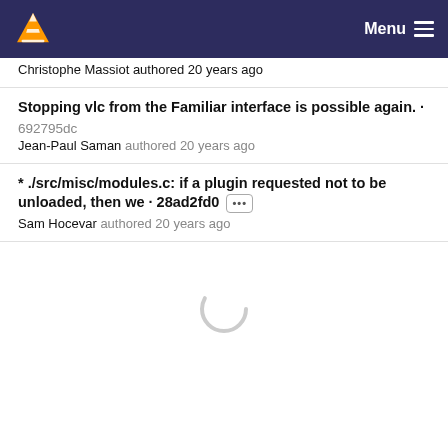VLC Media Player — Menu
Christophe Massiot authored 20 years ago
Stopping vlc from the Familiar interface is possible again. · 692795dc
Jean-Paul Saman authored 20 years ago
* ./src/misc/modules.c: if a plugin requested not to be unloaded, then we · 28ad2fd0 [...]
Sam Hocevar authored 20 years ago
[Figure (other): Loading spinner icon (circular arc indicating content is loading)]